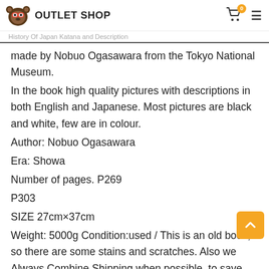OUTLET SHOP
made by Nobuo Ogasawara from the Tokyo National Museum.
In the book high quality pictures with descriptions in both English and Japanese. Most pictures are black and white, few are in colour.
Author: Nobuo Ogasawara
Era: Showa
Number of pages. P269
P303
SIZE 27cm×37cm
Weight: 5000g Condition:used / This is an old book, so there are some stains and scratches. Also we Always Combine Shipping when possible, to save you money !